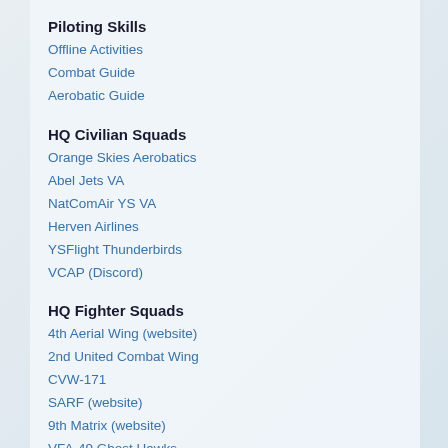Piloting Skills
Offline Activities
Combat Guide
Aerobatic Guide
HQ Civilian Squads
Orange Skies Aerobatics
Abel Jets VA
NatComAir YS VA
Herven Airlines
YSFlight Thunderbirds
VCAP (Discord)
HQ Fighter Squads
4th Aerial Wing (website)
2nd United Combat Wing
CVW-171
SARF (website)
9th Matrix (website)
VFA-49 Ghost Hawks
Related YS Sites
Decaff's YSFlight Website
Taskforce58's Hangar
Turbofan's Terminal
Owl's YSFlight
Luckybeargod's YSFlight